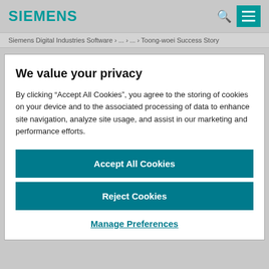SIEMENS
Siemens Digital Industries Software › ... › ... › Toong-woei Success Story
We value your privacy
By clicking “Accept All Cookies”, you agree to the storing of cookies on your device and to the associated processing of data to enhance site navigation, analyze site usage, and assist in our marketing and performance efforts.
Accept All Cookies
Reject Cookies
Manage Preferences